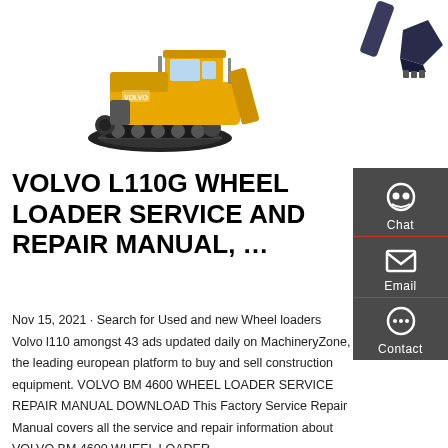[Figure (photo): Yellow tracked excavator/crawler on white background, viewed from the side, with a large bucket arm raised]
[Figure (photo): Close-up of an excavator bucket/dipper arm on white background, top-right corner]
VOLVO L110G WHEEL LOADER SERVICE AND REPAIR MANUAL, …
Nov 15, 2021 · Search for Used and new Wheel loaders Volvo l110 amongst 43 ads updated daily on MachineryZone, the leading european platform to buy and sell construction equipment. VOLVO BM 4600 WHEEL LOADER SERVICE REPAIR MANUAL DOWNLOAD This Factory Service Repair Manual covers all the service and repair information about VOLVO BM 4600 WHEEL LOADER.